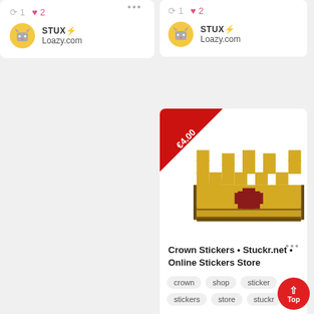↺ 1  ♥ 2
STUX⚡ Loazy.com
↺ 1  ♥ 2
STUX⚡ Loazy.com
[Figure (photo): Pixel art golden crown with red gem, price ribbon showing €4.00]
Crown Stickers • Stuckr.net • Online Stickers Store
crown
shop
sticker
stickers
store
stuckr
♥ 2